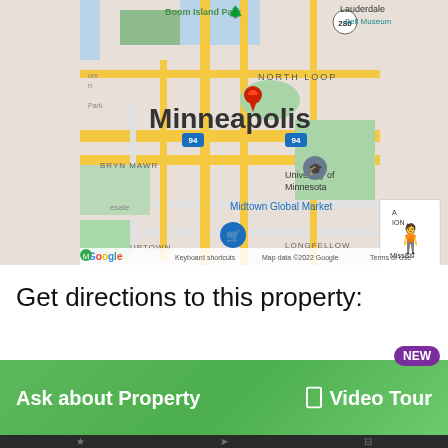[Figure (map): Google Map centered on Minneapolis, MN showing North Loop, Bryn Mawr, Uptown, Midtown Global Market, University of Minnesota, Longfellow neighborhoods. A red pin marker is placed near the center. Map controls include street view person icon, zoom in (+) and zoom out (-) buttons. Map data ©2022 Google. Labels: Boom Island Park, Lauderdale, Bell Museum, 280, NORTH LOOP, Minneapolis, BRYN MAWR, University of Minnesota, Midtown Global Market, UPTOWN, LONGFELLOW. Footer: Keyboard shortcuts | Map data ©2022 Google | Terms of Use]
Get directions to this property:
Ask about Property
Video Tour
NEW